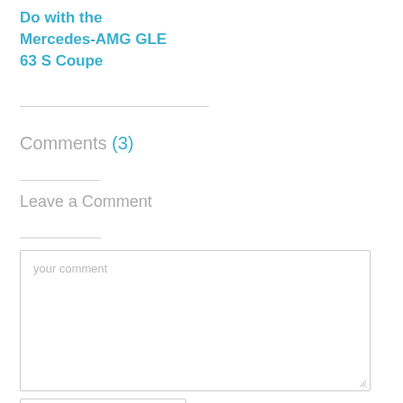Do with the Mercedes-AMG GLE 63 S Coupe
Comments (3)
Leave a Comment
your comment